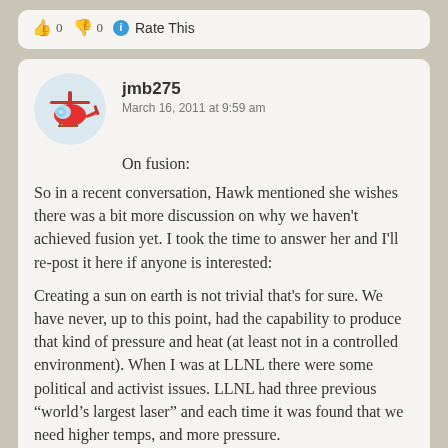👍 0 👎 0 ℹ Rate This
jmb275
March 16, 2011 at 9:59 am
On fusion:
So in a recent conversation, Hawk mentioned she wishes there was a bit more discussion on why we haven't achieved fusion yet. I took the time to answer her and I'll re-post it here if anyone is interested:
Creating a sun on earth is not trivial that's for sure. We have never, up to this point, had the capability to produce that kind of pressure and heat (at least not in a controlled environment). When I was at LLNL there were some political and activist issues. LLNL had three previous “world’s largest laser” and each time it was found that we need higher temps, and more pressure.